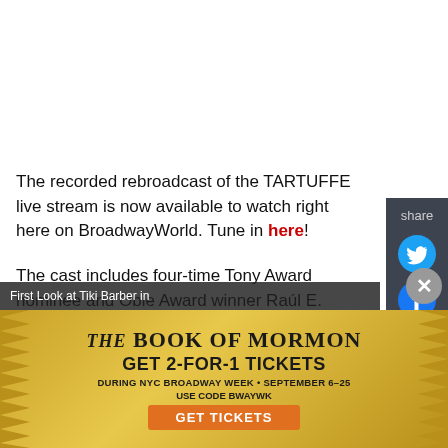The recorded rebroadcast of the TARTUFFE live stream is now available to watch right here on BroadwayWorld. Tune in here!
The cast includes four-time Tony Award nominee and Obie Award winner Raúl E. Esparza (Seared at MCC, Company on Broadway), Emmy and SAG Award winner Samira Wiley (Hulu's "The...
[Figure (screenshot): Share sidebar with Twitter and Facebook icons on dark background]
First Look at Tiki Barber in
[Figure (infographic): Advertisement for The Book of Mormon: GET 2-FOR-1 TICKETS DURING NYC BROADWAY WEEK • SEPTEMBER 6-25 USE CODE BWAYWK GET TICKETS]